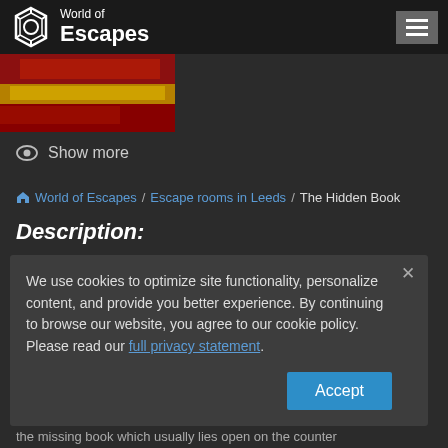World of Escapes
[Figure (photo): Partial image of what appears to be red and gold draped fabric or cushions]
Show more
World of Escapes / Escape rooms in Leeds / The Hidden Book
Description:
We use cookies to optimize site functionality, personalize content, and provide you better experience. By continuing to browse our website, you agree to our cookie policy. Please read our full privacy statement.
It looks undisturbed. You'd suspect nothing, were it not for the missing book which usually lies open on the counter